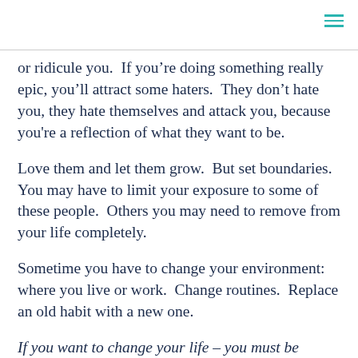or ridicule you.  If you’re doing something really epic, you’ll attract some haters.  They don’t hate you, they hate themselves and attack you, because you're a reflection of what they want to be.
Love them and let them grow.  But set boundaries.  You may have to limit your exposure to some of these people.  Others you may need to remove from your life completely.
Sometime you have to change your environment: where you live or work.  Change routines.  Replace an old habit with a new one.
If you want to change your life – you must be